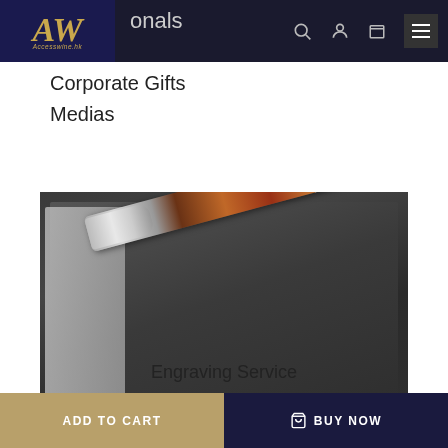AW Accesswine.hk — navigation bar with search, profile, cart, menu icons
...onals
Corporate Gifts
Medias
[Figure (photo): Close-up photo of a luxury engraved pen with silver tip and brown patterned body on dark background, with italic script text 'Personalize it' overlaid, and a scroll-up arrow button in bottom-right corner]
Engraving Service
ADD TO CART
BUY NOW